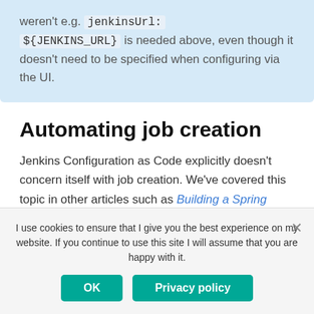weren't e.g. jenkinsUrl: ${JENKINS_URL} is needed above, even though it doesn't need to be specified when configuring via the UI.
Automating job creation
Jenkins Configuration as Code explicitly doesn't concern itself with job creation. We've covered this topic in other articles such as Building a Spring Boot
I use cookies to ensure that I give you the best experience on my website. If you continue to use this site I will assume that you are happy with it.